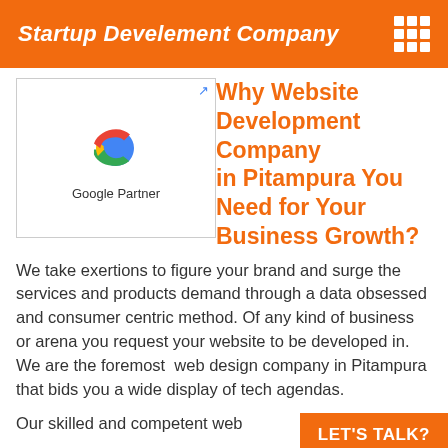Startup Develement Company
Why Website Development Company in Pitampura You Need for Your Business Growth?
[Figure (logo): Google Partner badge with Google G logo and text 'Google Partner']
We take exertions to figure your brand and surge the services and products demand through a data obsessed and consumer centric method. Of any kind of business or arena you request your website to be developed in. We are the foremost  web design company in Pitampura that bids you a wide display of tech agendas.
Our skilled and competent web